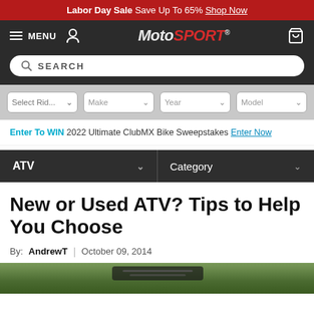Labor Day Sale Save Up To 65% Shop Now
[Figure (screenshot): MotoSport website navigation bar with MENU, user icon, MotoSport logo, and cart icon]
[Figure (screenshot): Search bar with SEARCH placeholder text]
[Figure (screenshot): Vehicle selector dropdowns: Select Rid..., Make, Year, Model]
Enter To WIN 2022 Ultimate ClubMX Bike Sweepstakes Enter Now
[Figure (screenshot): Category navigation bar with ATV dropdown and Category dropdown]
New or Used ATV? Tips to Help You Choose
By: AndrewT | October 09, 2014
[Figure (photo): Partial photo of ATV handlebars with greenery in background]